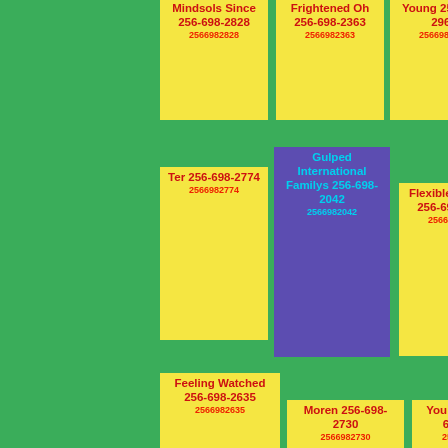Mindsols Since 256-698-2828 2566982828
Frightened Oh 256-698-2363 2566982363
Young 256-698-2962 2566982962
Ter 256-698-2774 2566982774
Gulped International Familys 256-698-2042 2566982042
Flexible Servant 256-698-2603 2566982603
Feeling Watched 256-698-2635 2566982635
Moren 256-698-2730 2566982730
You Badly 256-698-2851 2566982851
Seconds Jelly Mounds 256-698-...
Ollivanders Balloon 256-698-...
Fill Perfect Slip 256-...